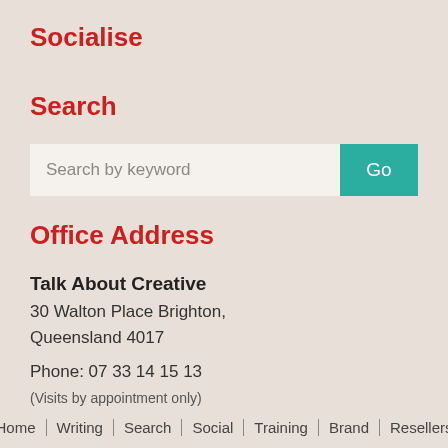Socialise
Search
Search by keyword
Office Address
Talk About Creative
30 Walton Place Brighton,
Queensland 4017

Phone: 07 33 14 15 13
(Visits by appointment only)
Home | Writing | Search | Social | Training | Brand | Resellers